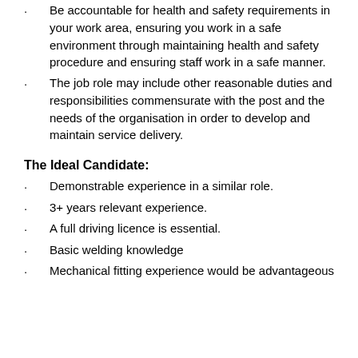Be accountable for health and safety requirements in your work area, ensuring you work in a safe environment through maintaining health and safety procedure and ensuring staff work in a safe manner.
The job role may include other reasonable duties and responsibilities commensurate with the post and the needs of the organisation in order to develop and maintain service delivery.
The Ideal Candidate:
Demonstrable experience in a similar role.
3+ years relevant experience.
A full driving licence is essential.
Basic welding knowledge
Mechanical fitting experience would be advantageous